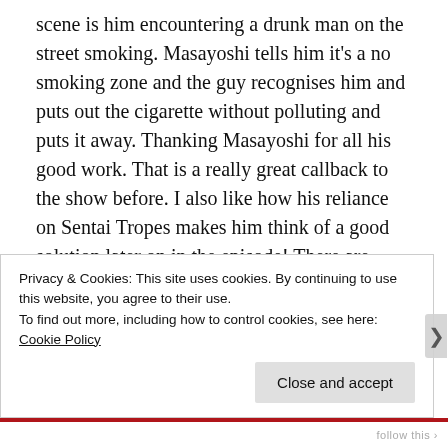scene is him encountering a drunk man on the street smoking. Masayoshi tells him it's a no smoking zone and the guy recognises him and puts out the cigarette without polluting and puts it away. Thanking Masayoshi for all his good work. That is a really great callback to the show before. I also like how his reliance on Sentai Tropes makes him think of a good solution later on in the episode! There are some very solid thoughts going into here. I also really liked how the Giant Robo took realistic damage from the fire! That isn't a thing in Sentai shows normally.
Privacy & Cookies: This site uses cookies. By continuing to use this website, you agree to their use.
To find out more, including how to control cookies, see here: Cookie Policy